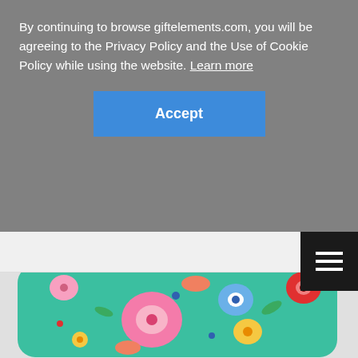By continuing to browse giftelements.com, you will be agreeing to the Privacy Policy and the Use of Cookie Policy while using the website. Learn more
[Figure (other): Blue Accept button for cookie consent]
[Figure (other): Hamburger menu button (three horizontal lines) on dark background in upper right]
[Figure (photo): Decorative throw pillow with tropical floral pattern on teal background, featuring hibiscus flowers, plumeria, blue flowers, yellow flowers, tropical leaves, and fruit slices in pink, red, yellow, blue, and green colors]